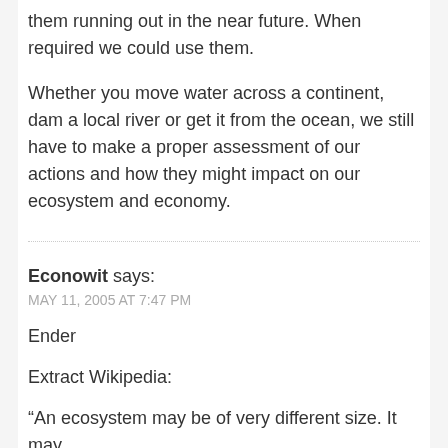them running out in the near future. When required we could use them.
Whether you move water across a continent, dam a local river or get it from the ocean, we still have to make a proper assessment of our actions and how they might impact on our ecosystem and economy.
Econowit says:
MAY 11, 2005 AT 7:47 PM
Ender
Extract Wikipedia:
“An ecosystem may be of very different size. It may